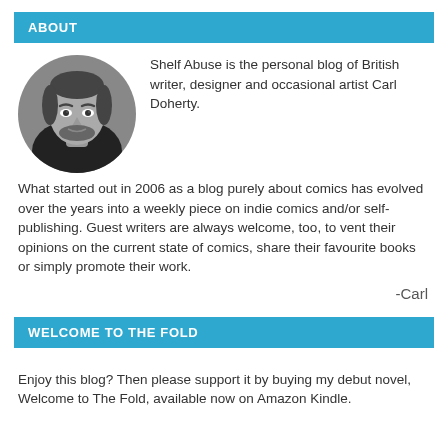ABOUT
[Figure (photo): Black and white circular portrait photo of a man (Carl Doherty)]
Shelf Abuse is the personal blog of British writer, designer and occasional artist Carl Doherty.

What started out in 2006 as a blog purely about comics has evolved over the years into a weekly piece on indie comics and/or self-publishing. Guest writers are always welcome, too, to vent their opinions on the current state of comics, share their favourite books or simply promote their work.
-Carl
WELCOME TO THE FOLD
Enjoy this blog? Then please support it by buying my debut novel, Welcome to The Fold, available now on Amazon Kindle.